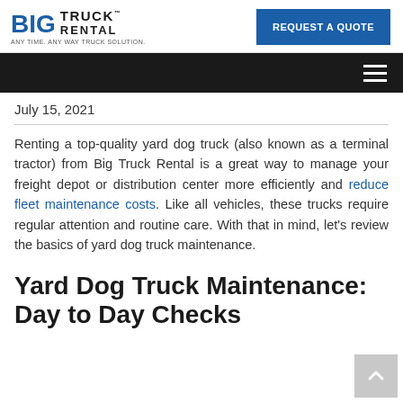BIG TRUCK RENTAL — ANY TIME. ANY WAY TRUCK SOLUTION. | REQUEST A QUOTE
July 15, 2021
Renting a top-quality yard dog truck (also known as a terminal tractor) from Big Truck Rental is a great way to manage your freight depot or distribution center more efficiently and reduce fleet maintenance costs. Like all vehicles, these trucks require regular attention and routine care. With that in mind, let's review the basics of yard dog truck maintenance.
Yard Dog Truck Maintenance: Day to Day Checks